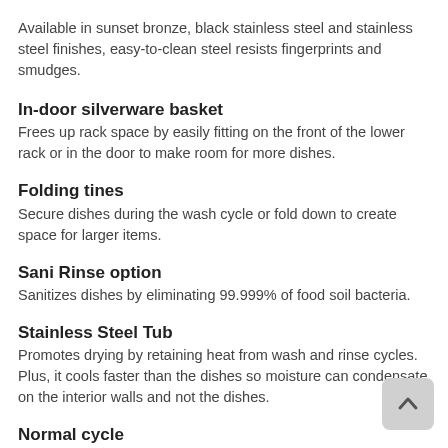Available in sunset bronze, black stainless steel and stainless steel finishes, easy-to-clean steel resists fingerprints and smudges.
In-door silverware basket
Frees up rack space by easily fitting on the front of the lower rack or in the door to make room for more dishes.
Folding tines
Secure dishes during the wash cycle or fold down to create space for larger items.
Sani Rinse option
Sanitizes dishes by eliminating 99.999% of food soil bacteria.
Stainless Steel Tub
Promotes drying by retaining heat from wash and rinse cycles. Plus, it cools faster than the dishes so moisture can condensate on the interior walls and not the dishes.
Normal cycle
Use for normal amounts of food soil to clean up leftover messes from your day-to-day meals.